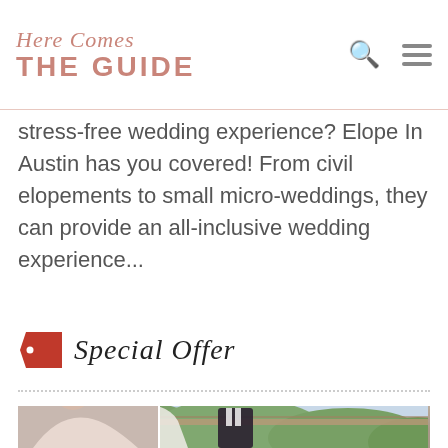Here Comes THE GUIDE
stress-free wedding experience? Elope In Austin has you covered! From civil elopements to small micro-weddings, they can provide an all-inclusive wedding experience...
Special Offer
[Figure (photo): Wedding couple on a balcony/rooftop with green trees in background. Bride in white gown holding pink bouquet, groom in dark tuxedo with bow tie, both looking at each other. Small inset photo at bottom-left of another woman.]